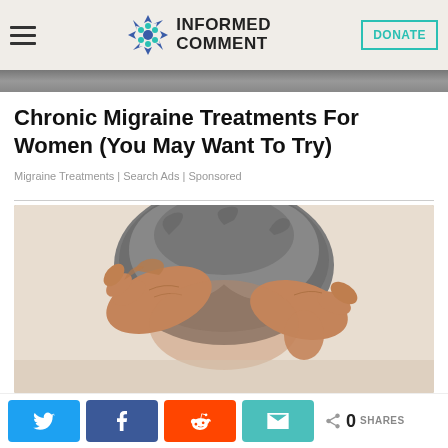INFORMED COMMENT
Chronic Migraine Treatments For Women (You May Want To Try)
Migraine Treatments | Search Ads | Sponsored
[Figure (photo): Older woman with grey curly hair holding her head in both hands, suggesting migraine pain, viewed from behind/side on white background]
0 SHARES